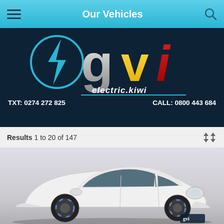Our Vehicles
[Figure (logo): GVI electric.kiwi logo with lightning bolt icon]
TXT: 0274 272 825   CALL: 0800 443 684
Results 1 to 20 of 147
[Figure (photo): White Nissan Leaf electric vehicle photographed in a studio setting]